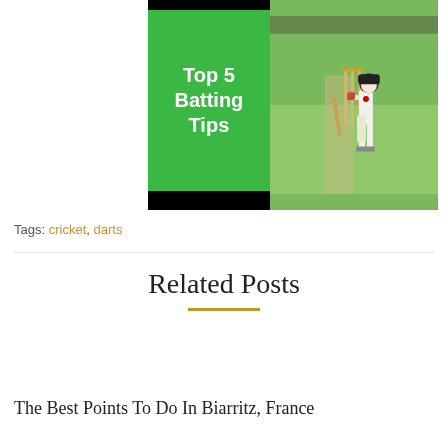[Figure (photo): Thumbnail image showing a cricket batsman at the wicket, with a green panel on the left displaying 'Top 5 Batting Tips' in white bold text. The image has a black bar at top and bottom.]
Tags: cricket, darts
Related Posts
The Best Points To Do In Biarritz, France